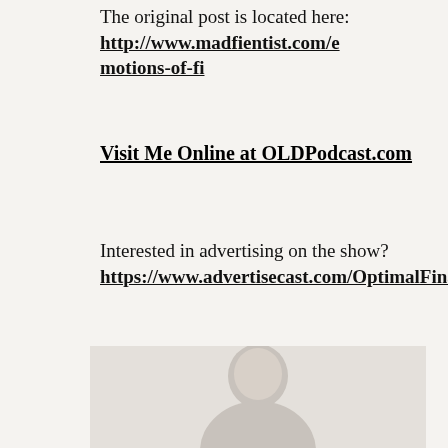The original post is located here: http://www.madfientist.com/emotions-of-fi
Visit Me Online at OLDPodcast.com
Interested in advertising on the show? https://www.advertisecast.com/OptimalFinanceDaily
[Figure (photo): Partial photo of a person (head/shoulders visible from bottom of frame), light background, bottom of page]